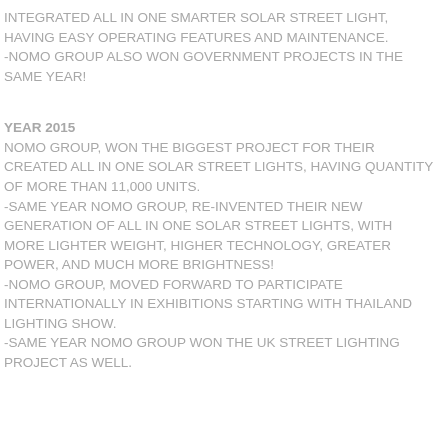INTEGRATED ALL IN ONE SMARTER SOLAR STREET LIGHT, HAVING EASY OPERATING FEATURES AND MAINTENANCE. -NOMO GROUP ALSO WON GOVERNMENT PROJECTS IN THE SAME YEAR!
YEAR 2015
NOMO GROUP, WON THE BIGGEST PROJECT FOR THEIR CREATED ALL IN ONE SOLAR STREET LIGHTS, HAVING QUANTITY OF MORE THAN 11,000 UNITS. -SAME YEAR NOMO GROUP, RE-INVENTED THEIR NEW GENERATION OF ALL IN ONE SOLAR STREET LIGHTS, WITH MORE LIGHTER WEIGHT, HIGHER TECHNOLOGY, GREATER POWER, AND MUCH MORE BRIGHTNESS! -NOMO GROUP, MOVED FORWARD TO PARTICIPATE INTERNATIONALLY IN EXHIBITIONS STARTING WITH THAILAND LIGHTING SHOW. -SAME YEAR NOMO GROUP WON THE UK STREET LIGHTING PROJECT AS WELL.